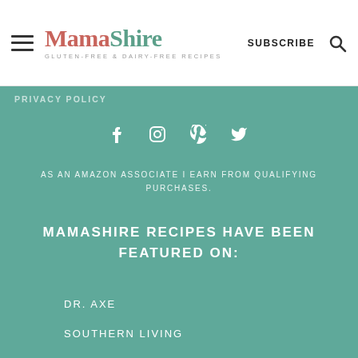Mama Shire — GLUTEN-FREE & DAIRY-FREE RECIPES | SUBSCRIBE
PRIVACY POLICY
[Figure (other): Social media icons: Facebook, Instagram, Pinterest, Twitter]
AS AN AMAZON ASSOCIATE I EARN FROM QUALIFYING PURCHASES.
MAMASHIRE RECIPES HAVE BEEN FEATURED ON:
DR. AXE
SOUTHERN LIVING
SHAPE
DELISH
PARADE
AN ELITE CAFEMEDIA FOOD PUBLISHER